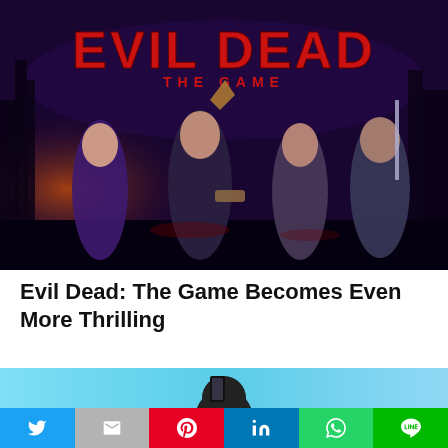[Figure (illustration): Evil Dead: The Game promotional artwork showing characters with weapons against a dark forest background with red 'EVIL DEAD THE GAME' title text]
Evil Dead: The Game Becomes Even More Thrilling
[Figure (photo): Partial view of a person holding a phone against a light blue background]
[Figure (infographic): Social media share buttons bar: Twitter (blue), Gmail (gray), Pinterest (red), LinkedIn (blue), WhatsApp (green), Line (green)]